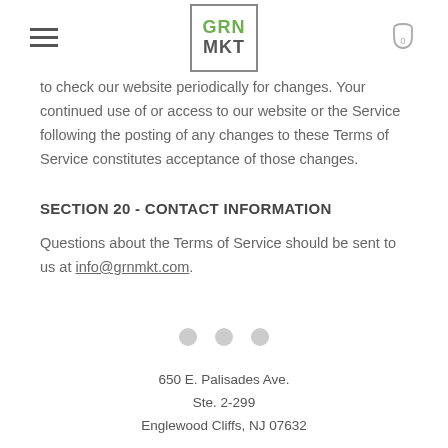GRN MKT
to check our website periodically for changes. Your continued use of or access to our website or the Service following the posting of any changes to these Terms of Service constitutes acceptance of those changes.
SECTION 20 - CONTACT INFORMATION
Questions about the Terms of Service should be sent to us at info@grnmkt.com.
[Figure (other): Three grey pagination dots]
650 E. Palisades Ave.
Ste. 2-299
Englewood Cliffs, NJ 07632